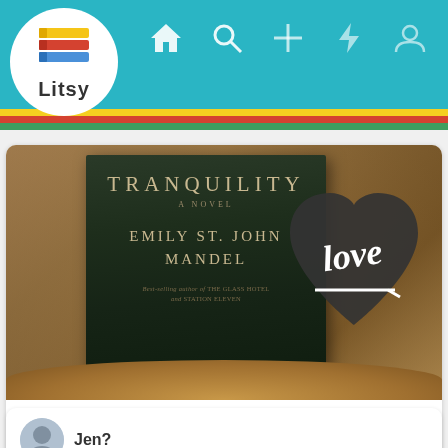Litsy app navigation header with logo and icons
[Figure (photo): Photo of the book 'Sea of Tranquility, A Novel' by Emily St. John Mandel placed on a wooden surface, with a dark heart-shaped sticker showing the word 'Love' in script overlaid on the bottom right of the book]
This one didn't hit me quite as hard as Station Eleven but still, I loved it. 🖤
64 likes
Jen?